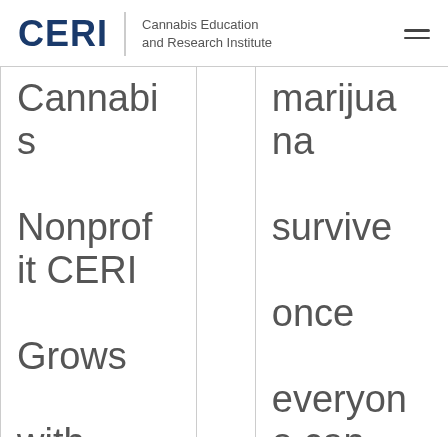CERI Cannabis Education and Research Institute
Cannabis Nonprofit CERI Grows with New Leaders Joining
marijuana survive once everyone can buy cannabis? |